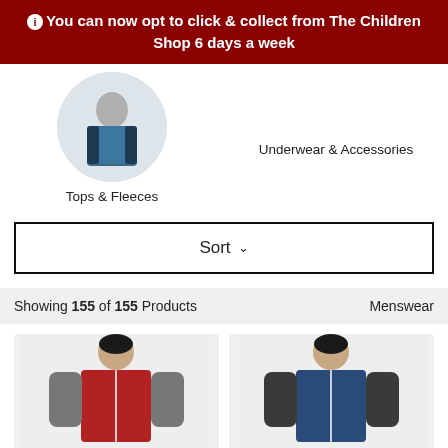You can now opt to click & collect from The Children Shop 6 days a week
Tops & Fleeces
Underwear & Accessories
Sort
Showing 155 of 155 Products    Menswear
[Figure (photo): Man wearing a red quilted gilet vest over a grey long-sleeve top]
[Figure (photo): Man wearing a blue quilted gilet vest over a dark long-sleeve top]